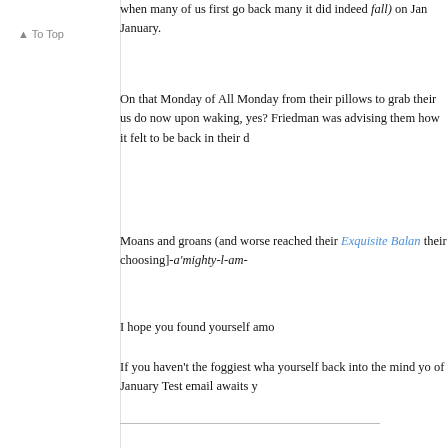▲ To Top
when many of us first go back many it did indeed fall) on January.
On that Monday of All Mondays from their pillows to grab their us do now upon waking, yes? Friedman was advising them how it felt to be back in their d
Moans and groans (and worse reached their Exquisite Balance their choosing]-a'mighty-l-am-
I hope you found yourself amo
If you haven't the foggiest what yourself back into the mind you of January Test email awaits y